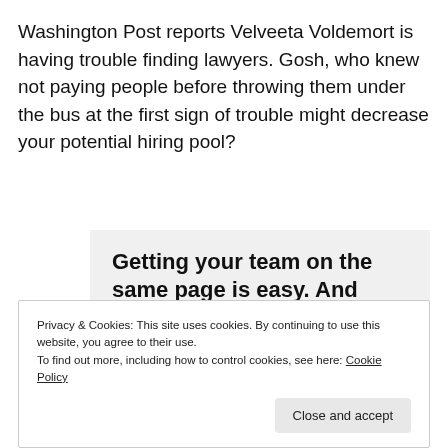Washington Post reports Velveeta Voldemort is having trouble finding lawyers. Gosh, who knew not paying people before throwing them under the bus at the first sign of trouble might decrease your potential hiring pool?
[Figure (infographic): Advertisement box with bold headline 'Getting your team on the same page is easy. And free.' and four circular avatar images below.]
Privacy & Cookies: This site uses cookies. By continuing to use this website, you agree to their use.
To find out more, including how to control cookies, see here: Cookie Policy